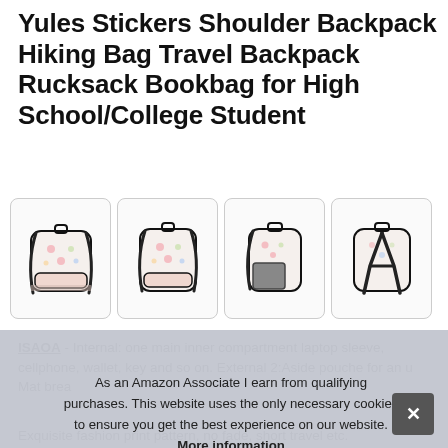Yules Stickers Shoulder Backpack Hiking Bag Travel Backpack Rucksack Bookbag for High School/College Student
[Figure (photo): Four product images of a floral-print backpack shown from front, angled front, side/open, and back views]
ISAOA - Internal: one main inner compartment laptop sleeve, cellphone, wallet, key and so on. External 2:Aside pouche for an u... Mat... brea...
As an Amazon Associate I earn from qualifying purchases. This website uses the only necessary cookies to ensure you get the best experience on our website. More information
Exquisite fashion print pattern, no fade, short travel etc.